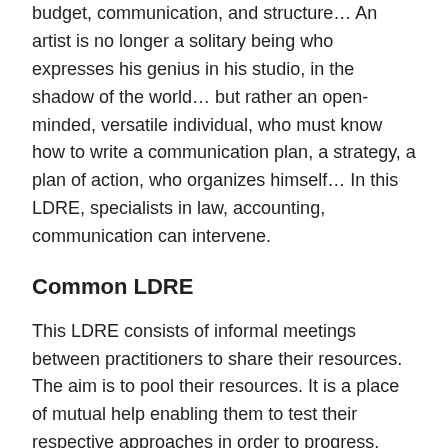budget, communication, and structure… An artist is no longer a solitary being who expresses his genius in his studio, in the shadow of the world… but rather an open-minded, versatile individual, who must know how to write a communication plan, a strategy, a plan of action, who organizes himself… In this LDRE, specialists in law, accounting, communication can intervene.
Common LDRE
This LDRE consists of informal meetings between practitioners to share their resources. The aim is to pool their resources. It is a place of mutual help enabling them to test their respective approaches in order to progress. This LDRE is dedicated to the pooling and sharing of practitioners' sources and resources: relationships, plans, opportunities, facilities, etc. This LDRE augements the generosity and reciprocity of practitioners.